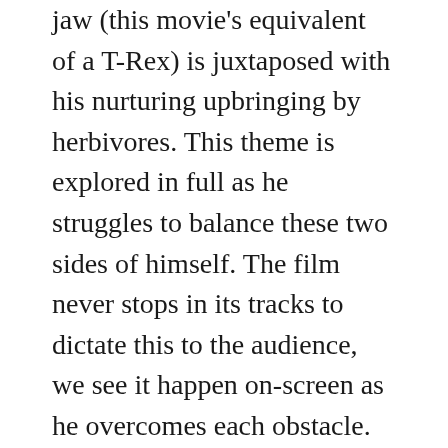jaw (this movie's equivalent of a T-Rex) is juxtaposed with his nurturing upbringing by herbivores. This theme is explored in full as he struggles to balance these two sides of himself. The film never stops in its tracks to dictate this to the audience, we see it happen on-screen as he overcomes each obstacle.
This script also understands one of the core tenants of what makes a good screenplay: setups and payoffs. Nearly every beat established early bears itself for emotional release later. For example, as a child Heart is fed berries because he can't stand the taste of leaves. When the plant-eating Umasou later brings him berries unassumingly it turns into a bonding moment that cements their relationship. After having succumbed to his meat-eating nature Heart is reminded of his